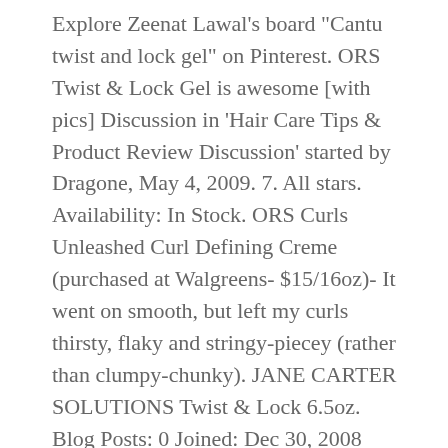Explore Zeenat Lawal's board "Cantu twist and lock gel" on Pinterest. ORS Twist & Lock Gel is awesome [with pics] Discussion in 'Hair Care Tips & Product Review Discussion' started by Dragone, May 4, 2009. 7. All stars. Availability: In Stock. ORS Curls Unleashed Curl Defining Creme (purchased at Walgreens- $15/16oz)- It went on smooth, but left my curls thirsty, flaky and stringy-piecey (rather than clumpy-chunky). JANE CARTER SOLUTIONS Twist & Lock 6.5oz. Blog Posts: 0 Joined: Dec 30, 2008 Messages: 1,268 Likes Received: 3,608 Trophy Points: 0. Search. If you choose … Hair. Directions. I keep JBCO near by to seal my ends while twirling to make sure they form a slight curl. $15.99. Add to wishlist. Please try again later. Ouidad Climate Control Heat & Humidity Gel. Quick view Compare Add to Cart. twist outs, braid outs, etc). Quick View.